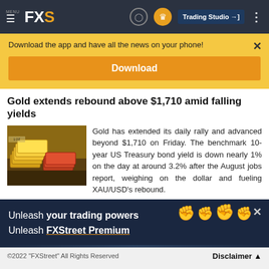MENU FXS | Trading Studio
Download the app and have all the news on your phone!
Download
Gold extends rebound above $1,710 amid falling yields
[Figure (photo): Photo of gold bars stacked on US dollar bills]
Gold has extended its daily rally and advanced beyond $1,710 on Friday. The benchmark 10-year US Treasury bond yield is down nearly 1% on the day at around 3.2% after the August jobs report, weighing on the dollar and fueling XAU/USD's rebound.
[Figure (infographic): Advertisement banner: Unleash your trading powers Unleash FXStreet Premium, with raised fists imagery on dark blue background]
©2022 "FXStreet" All Rights Reserved  Disclaimer ▲